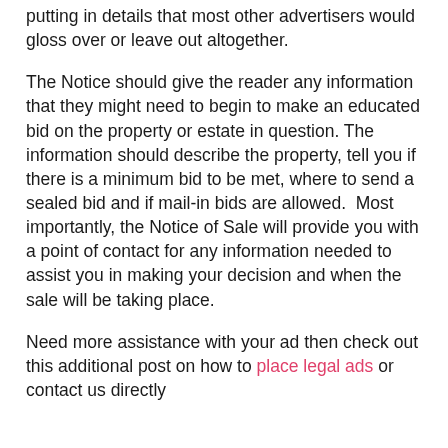putting in details that most other advertisers would gloss over or leave out altogether.
The Notice should give the reader any information that they might need to begin to make an educated bid on the property or estate in question. The information should describe the property, tell you if there is a minimum bid to be met, where to send a sealed bid and if mail-in bids are allowed.  Most importantly, the Notice of Sale will provide you with a point of contact for any information needed to assist you in making your decision and when the sale will be taking place.
Need more assistance with your ad then check out this additional post on how to place legal ads or contact us directly